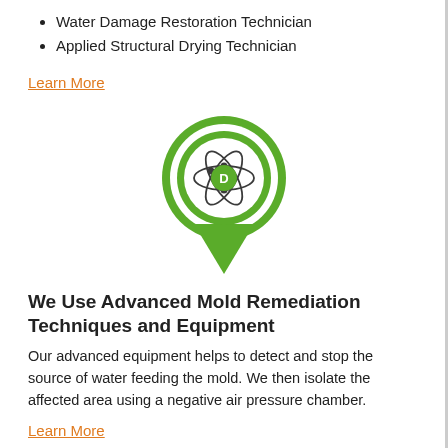Water Damage Restoration Technician
Applied Structural Drying Technician
Learn More
[Figure (logo): Green map pin icon with atom/molecule symbol and letter D in center circle]
We Use Advanced Mold Remediation Techniques and Equipment
Our advanced equipment helps to detect and stop the source of water feeding the mold. We then isolate the affected area using a negative air pressure chamber.
Learn More
The Mold Remediation Process
Every mold damage scenario is different, and requires a unique solution, but the general mold remediation process